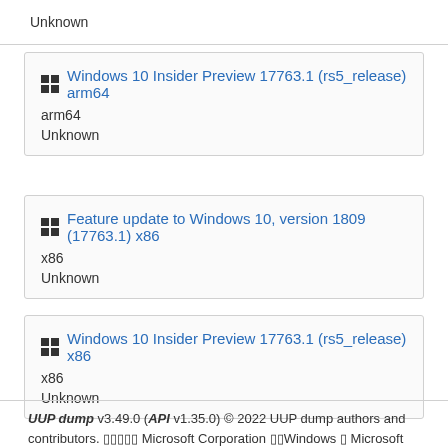Unknown
Windows 10 Insider Preview 17763.1 (rs5_release) arm64 | arm64 | Unknown
Feature update to Windows 10, version 1809 (17763.1) x86 | x86 | Unknown
Windows 10 Insider Preview 17763.1 (rs5_release) x86 | x86 | Unknown
UUP dump v3.49.0 (API v1.35.0) © 2022 UUP dump authors and contributors. [?????] Microsoft Corporation [??]Windows [?] Microsoft Corporation [?????]